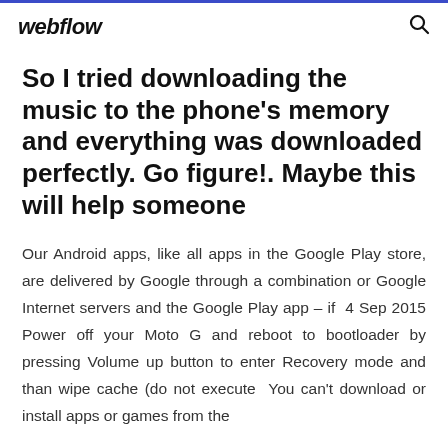webflow
So I tried downloading the music to the phone's memory and everything was downloaded perfectly. Go figure!. Maybe this will help someone
Our Android apps, like all apps in the Google Play store, are delivered by Google through a combination or Google Internet servers and the Google Play app – if 4 Sep 2015 Power off your Moto G and reboot to bootloader by pressing Volume up button to enter Recovery mode and than wipe cache (do not execute You can't download or install apps or games from the